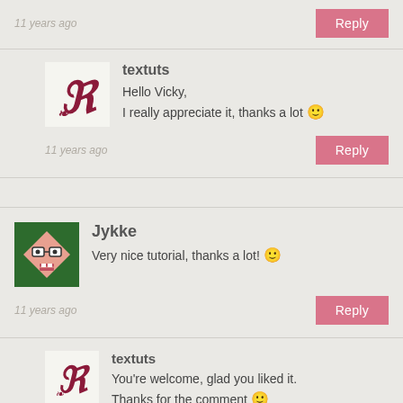11 years ago
[Figure (other): Reply button (pink)]
[Figure (logo): textuts avatar with decorative R letter]
textuts
Hello Vicky,
I really appreciate it, thanks a lot 🙂
11 years ago
[Figure (other): Reply button (pink)]
[Figure (illustration): Jykke avatar - cartoon diamond face on green background]
Jykke
Very nice tutorial, thanks a lot! 🙂
11 years ago
[Figure (other): Reply button (pink)]
[Figure (logo): textuts avatar with decorative R letter]
textuts
You're welcome, glad you liked it.
Thanks for the comment 🙂